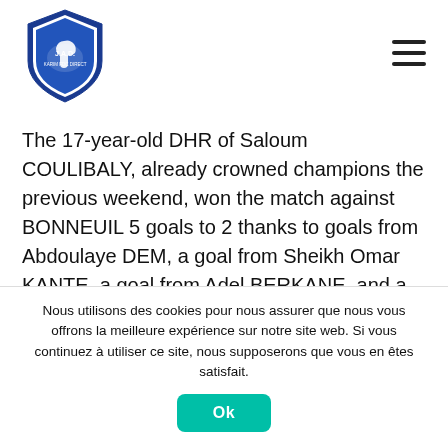[Figure (logo): JAD football club logo shield with horse emblem, blue and white]
The 17-year-old DHR of Saloum COULIBALY, already crowned champions the previous weekend, won the match against BONNEUIL 5 goals to 2 thanks to goals from Abdoulaye DEM, a goal from Sheikh Omar KANTE, a goal from Adel BERKANE, and a goal from Alfamy DEMBA.
They will play their PARIS IDF semi-finals this Thursday 05 May at 18:00 at the Paul ANDRE stadium, will be the 14-year-old REGIONAL Bakary SYLLA who will challenge the 14-year-old RED STAR at 15:30 at the BAUER stadium,
Nous utilisons des cookies pour nous assurer que nous vous offrons la meilleure expérience sur notre site web. Si vous continuez à utiliser ce site, nous supposerons que vous en êtes satisfait.
Ok